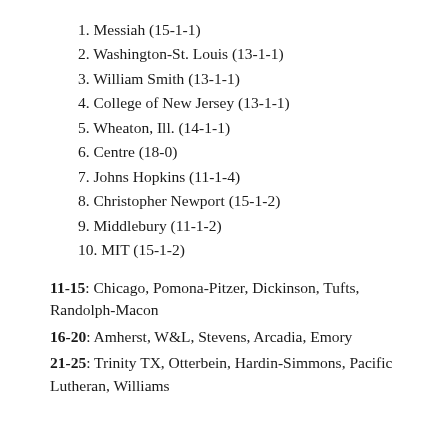1. Messiah (15-1-1)
2. Washington-St. Louis (13-1-1)
3. William Smith (13-1-1)
4. College of New Jersey (13-1-1)
5. Wheaton, Ill. (14-1-1)
6. Centre (18-0)
7. Johns Hopkins (11-1-4)
8. Christopher Newport (15-1-2)
9. Middlebury (11-1-2)
10. MIT (15-1-2)
11-15: Chicago, Pomona-Pitzer, Dickinson, Tufts, Randolph-Macon
16-20: Amherst, W&L, Stevens, Arcadia, Emory
21-25: Trinity TX, Otterbein, Hardin-Simmons, Pacific Lutheran, Williams